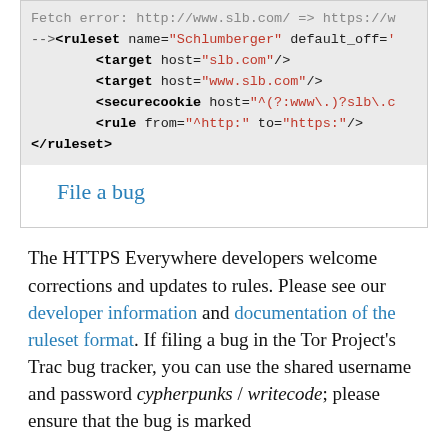[Figure (screenshot): A code block showing XML ruleset for Schlumberger with fetch error comment, target, securecookie, and rule elements, followed by a 'File a bug' link, all inside a bordered box.]
The HTTPS Everywhere developers welcome corrections and updates to rules. Please see our developer information and documentation of the ruleset format. If filing a bug in the Tor Project's Trac bug tracker, you can use the shared username and password cypherpunks / writecode; please ensure that the bug is marked